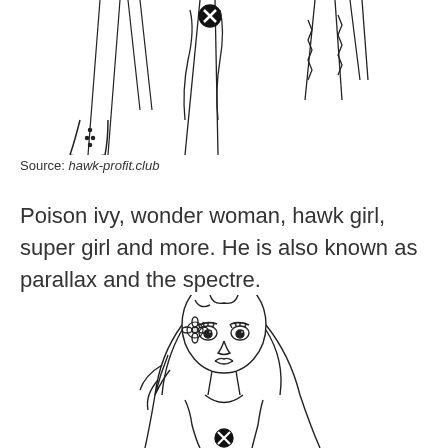[Figure (illustration): Line art coloring page illustrations of superhero character legs/feet and body parts with X marks, shown at top of page]
Source: hawk-profit.club
Poison ivy, wonder woman, hawk girl, super girl and more. He is also known as parallax and the spectre.
[Figure (illustration): Line art coloring page illustration of a female superhero character (Poison Ivy style) with long flowing hair, holding a flower, with an X mark on her chest, shown from waist up]